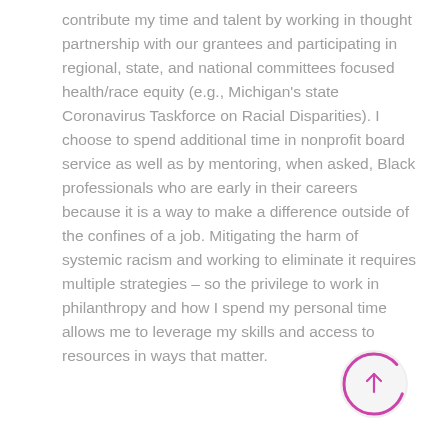contribute my time and talent by working in thought partnership with our grantees and participating in regional, state, and national committees focused health/race equity (e.g., Michigan's state Coronavirus Taskforce on Racial Disparities). I choose to spend additional time in nonprofit board service as well as by mentoring, when asked, Black professionals who are early in their careers because it is a way to make a difference outside of the confines of a job. Mitigating the harm of systemic racism and working to eliminate it requires multiple strategies – so the privilege to work in philanthropy and how I spend my personal time allows me to leverage my skills and access to resources in ways that matter.
[Figure (other): Circular navigation button with a magenta/pink partial arc on the upper right and an upward-pointing arrow in the center, on a light gray circular background.]